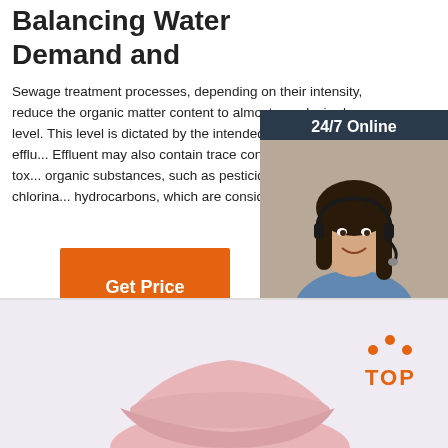Balancing Water Demand and
Sewage treatment processes, depending on their intensity, reduce the organic matter content to almost any desired level. This level is dictated by the intended use of the efflu... Effluent may also contain trace concentrations of tox... organic substances, such as pesticides and chlorina... hydrocarbons, which are considerably more ...
[Figure (infographic): 24/7 Online chat widget with a photo of a smiling woman with a headset, dark background, 'Click here for free chat!' text, and an orange QUOTATION button]
Get Price
[Figure (photo): Pink baseball cap partially visible at the bottom of the page, on a light purple/pink background. An orange 'TOP' badge with dots above it is in the lower right corner.]